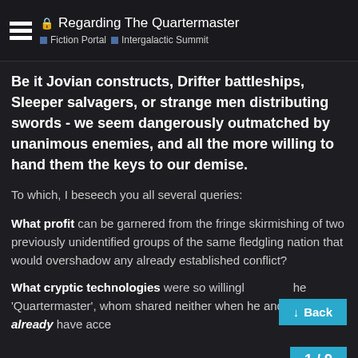Regarding The Quartermaster | Fiction Portal | Intergalactic Summit
Be it Jovian constructs, Drifter battleships, Sleeper salvagers, or strange men distributing swords - we seem dangerously outmatched by unanimous enemies, and all the more willing to hand them the keys to our demise.
To which, I beseech you all several queries:
What profit can be garnered from the fringe skirmishing of two previously unidentified groups of the same fledgling nation that would overshadow any already established conflict?
What cryptic technologies were so willingly given to the 'Quartermaster', whom shared neither when he and his ilk already have acce